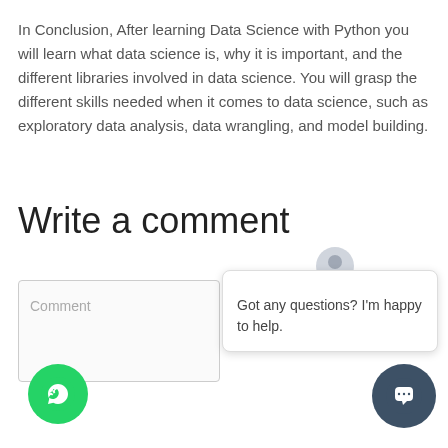In Conclusion, After learning Data Science with Python you will learn what data science is, why it is important, and the different libraries involved in data science. You will grasp the different skills needed when it comes to data science, such as exploratory data analysis, data wrangling, and model building.
Write a comment
Comment
[Figure (other): Chat popup with avatar icon, close button (×), and message: Got any questions? I'm happy to help.]
[Figure (other): WhatsApp circular green button with phone/chat icon]
[Figure (other): Dark blue circular chat bubble button]